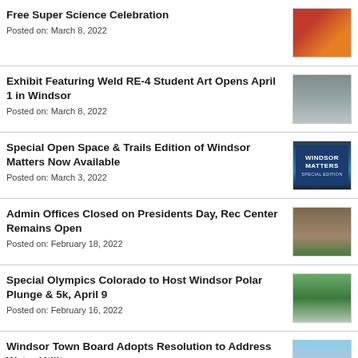Free Super Science Celebration
Posted on: March 8, 2022
Exhibit Featuring Weld RE-4 Student Art Opens April 1 in Windsor
Posted on: March 8, 2022
Special Open Space & Trails Edition of Windsor Matters Now Available
Posted on: March 3, 2022
Admin Offices Closed on Presidents Day, Rec Center Remains Open
Posted on: February 18, 2022
Special Olympics Colorado to Host Windsor Polar Plunge & 5k, April 9
Posted on: February 16, 2022
Windsor Town Board Adopts Resolution to Address Water Utility